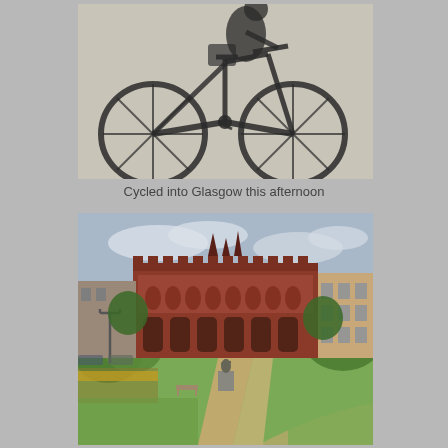[Figure (photo): Shadow of a bicycle and rider cast on a grainy concrete or tarmac surface, photographed from above. The bicycle shadow shows wheels, frame, handlebars, and a rider with a bag or basket.]
Cycled into Glasgow this afternoon
[Figure (photo): Outdoor photograph of a large Victorian red-brick Gothic style building (likely in Glasgow) seen from a park. In the foreground there is a path, green lawn, flower beds, a statue on a plinth, a bench, and a street lamp. Trees are visible around the building. Cloudy sky above.]